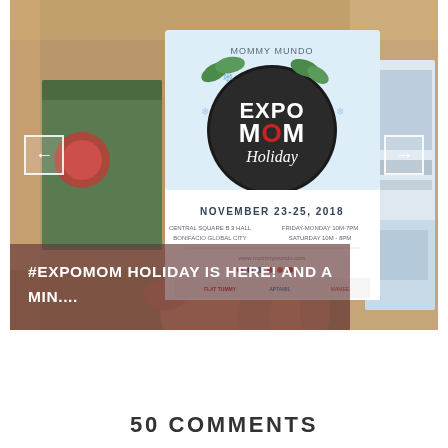[Figure (photo): A hand holding an Expo Mom Holiday event flyer/invitation card inside an open cardboard box. The flyer shows 'MOMMY MUNDO EXPO MOM Holiday' with a decorative circular logo featuring snowflakes and holiday greenery. Text on the flyer reads 'NOVEMBER 23-25, 2018'. The box contains other printed materials/brochures.]
#EXPOMOM HOLIDAY IS HERE! AND A MIN....
50 COMMENTS